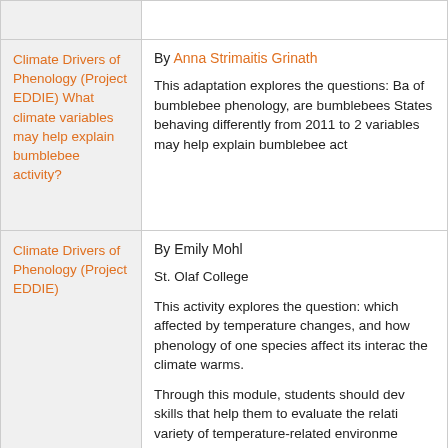| Title | Description |
| --- | --- |
| Climate Drivers of Phenology (Project EDDIE) What climate variables may help explain bumblebee activity? | By Anna Strimaitis Grinath

This adaptation explores the questions: Ba of bumblebee phenology, are bumblebees States behaving differently from 2011 to 2 variables may help explain bumblebee act |
| Climate Drivers of Phenology (Project EDDIE) | By Emily Mohl

St. Olaf College

This activity explores the question: which affected by temperature changes, and how phenology of one species affect its interac the climate warms.

Through this module, students should dev skills that help them to evaluate the relati variety of temperature-related environme phenology. In the context of climate chan make an argument using data about whe |